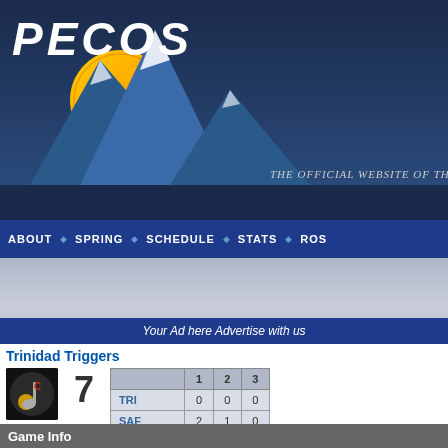[Figure (logo): Pecos League official website header with logo showing mountains and baseball with sun, dark navy background]
THE OFFICIAL WEBSITE OF THE PECOS LEAG...
ABOUT · SPRING · SCHEDULE · STATS · ROS...
Your Ad here Advertise with us
Trinidad Triggers
|  | 1 | 2 | 3 |
| --- | --- | --- | --- |
| TRI | 0 | 0 | 0 |
| SAF | 2 | 1 | 0 |
Game Info
Winning Pitcher: 95 - Kevin Camacho | Losing Pitcher: 21 - Zach Leitten | Save Pitcher: